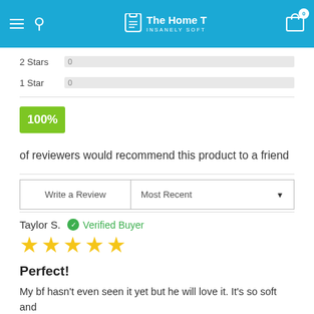The Home T — INSANELY SOFT
2 Stars   0
1 Star   0
100% of reviewers would recommend this product to a friend
Write a Review
Most Recent
Taylor S.   Verified Buyer
★★★★★
Perfect!
My bf hasn't even seen it yet but he will love it. It's so soft and